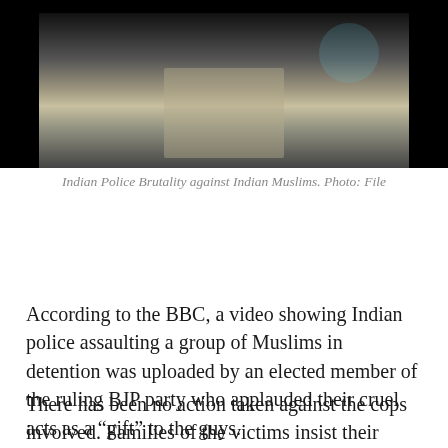[Figure (photo): A dark/blurry still from a video showing a person in a dimly lit scene, with black borders on sides — appears to be a news screenshot of alleged police brutality.]
Indian Police Brutality against Indian Muslims. Photo: File
According to the BBC, a video showing Indian police assaulting a group of Muslims in detention was uploaded by an elected member of the ruling BJP party who applauded their cruel acts as a “gift” to the guys.
There has been no action taken against the cops involved. Families of the victims insist their loved ones are innocent and should be released. “This is my brother;